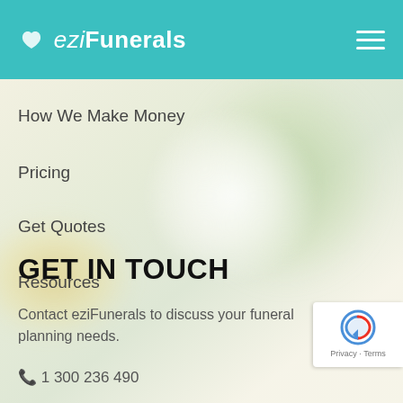eziFunerals
How We Make Money
Pricing
Get Quotes
Resources
GET IN TOUCH
Contact eziFunerals to discuss your funeral planning needs.
1 300 236 490